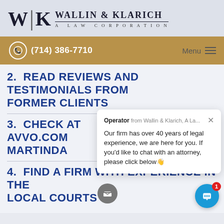[Figure (logo): Wallin & Klarich A Law Corporation logo with stylized WK monogram]
(714) 386-7710
Menu
2. READ REVIEWS AND TESTIMONIALS FROM FORMER CLIENTS
3. CHECK AT AVVO.COM MARTINDA...
4. FIND A FIRM WITH EXPERIENCE IN THE LOCAL COURTS
Operator from Wallin & Klarich, A La... Our firm has over 40 years of legal experience, we are here for you. If you'd like to chat with an attorney, please click below 👋